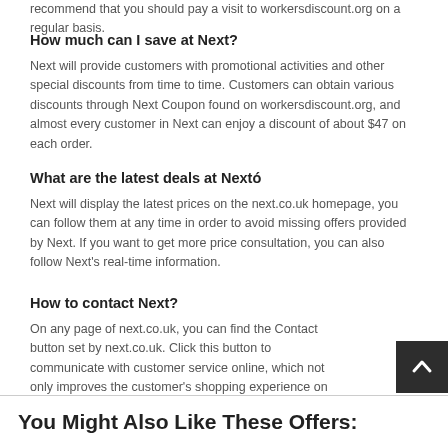recommend that you should pay a visit to workersdiscount.org on a regular basis.
How much can I save at Next?
Next will provide customers with promotional activities and other special discounts from time to time. Customers can obtain various discounts through Next Coupon found on workersdiscount.org, and almost every customer in Next can enjoy a discount of about $47 on each order.
What are the latest deals at Nextó
Next will display the latest prices on the next.co.uk homepage, you can follow them at any time in order to avoid missing offers provided by Next. If you want to get more price consultation, you can also follow Next’s real-time information.
How to contact Next?
On any page of next.co.uk, you can find the Contact button set by next.co.uk. Click this button to communicate with customer service online, which not only improves the customer’s shopping experience on next.co.uk, but also try to provide helps as many possible for Next customers.
You Might Also Like These Offers: